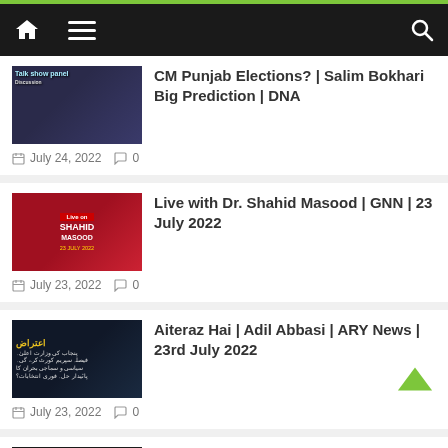Navigation bar with home, menu, and search icons
CM Punjab Elections? | Salim Bokhari Big Prediction | DNA — July 24, 2022 · 0 comments
Live with Dr. Shahid Masood | GNN | 23 July 2022 — July 23, 2022 · 0 comments
Aiteraz Hai | Adil Abbasi | ARY News | 23rd July 2022 — July 23, 2022 · 0 comments
Hamza Shahbaz again in danger? – Naya Pakistan – Geo News – 23 July 2022 – Geo News — July 23, 2022 · 0 comments
[Figure (screenshot): Partial thumbnail of a fifth article at the bottom of the page]